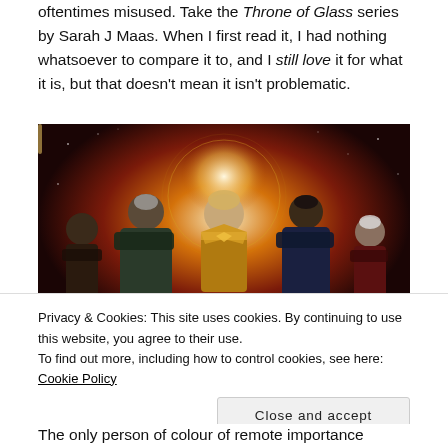oftentimes misused. Take the Throne of Glass series by Sarah J Maas. When I first read it, I had nothing whatsoever to compare it to, and I still love it for what it is, but that doesn't mean it isn't problematic.
[Figure (illustration): Fantasy illustration showing five characters standing together — a blonde woman in golden armor at the center, flanked by four other figures in dark cloaks, against a fiery cosmic background with glowing orb. Artist signature visible in lower left.]
Privacy & Cookies: This site uses cookies. By continuing to use this website, you agree to their use.
To find out more, including how to control cookies, see here: Cookie Policy
Close and accept
The only person of colour of remote importance